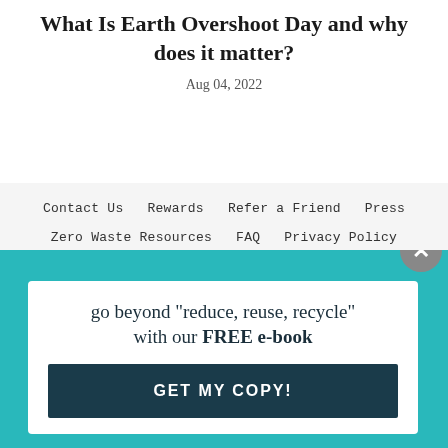What Is Earth Overshoot Day and why does it matter?
Aug 04, 2022
Contact Us   Rewards   Refer a Friend   Press   Zero Waste Resources   FAQ   Privacy Policy   Terms of Service
© 2022 A Drop in the Ocean
go beyond "reduce, reuse, recycle" with our FREE e-book
GET MY COPY!